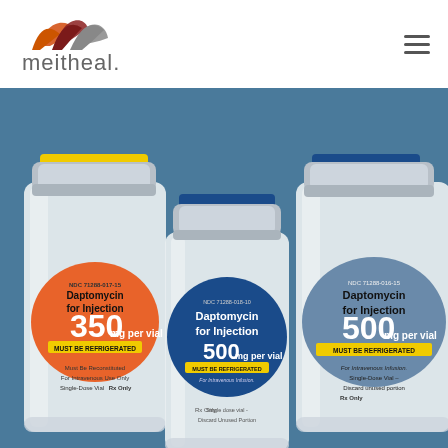[Figure (logo): Meitheal logo with orange, dark red, and grey arch shapes above the text 'meitheal.' in grey lowercase letters]
[Figure (photo): Three pharmaceutical vials of Daptomycin for Injection. Left vial: 350 mg per vial, NDC 71288-017-15, yellow cap, orange circular label, MUST BE REFRIGERATED. Center vial: 500 mg per vial, NDC 71288-018-10, blue cap, blue circular label, MUST BE REFRIGERATED, Rx Only, Single dose vial, Discard unused portion. Right vial: 500 mg per vial, NDC 71288-016-15, blue cap, blue-grey circular label, MUST BE REFRIGERATED, Rx Only, Single-Dose Vial, Discard unused portion. All vials against a teal/blue background.]